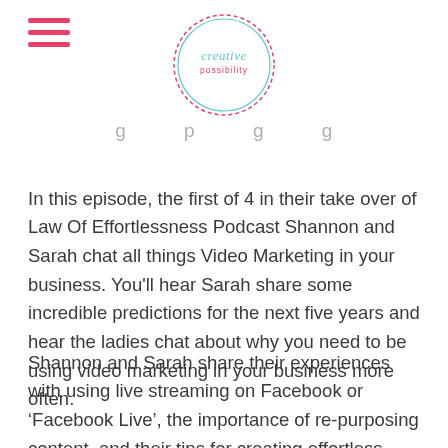[Creative Possibility logo and hamburger menu]
...g...p...g...g...
In this episode, the first of 4 in their take over of Law Of Effortlessness Podcast Shannon and Sarah chat all things Video Marketing in your business. You'll hear Sarah share some incredible predictions for the next five years and hear the ladies chat about why you need to be using video marketing in your business more often.
Shannon and Sarah share their experiences with using live streaming on Facebook or ‘Facebook Live’, the importance of re-purposing content, and their tips for creating effortless videos for your marketing. If the idea of using video marketing in your business adds